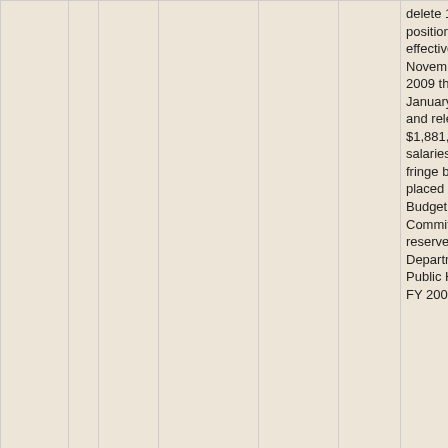|  |  |  |  | Ordinance | Passed | Description |
| --- | --- | --- | --- | --- | --- | --- |
|  |  |  |  |  |  | delete 1 FTE positions effective November 16, 2009 through January 2010, and release $1,881,8 of salaries and fringe benefits placed on Budget Finance Committee reserve Department of Public Health for FY 2009-2010. |
| 091203 | 2 |  | Public Employment - Amendment to the Annual | Ordinance | Passed | Ordinance amending Ordinance No. 183... |